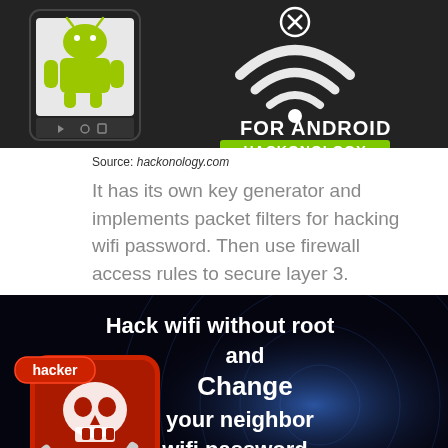[Figure (screenshot): Hackonology promotional banner for Android showing Android robot icon on a phone and WiFi symbol with cross, text 'FOR ANDROID' and green 'HACKONOLOGY' label on dark background]
Source: hackonology.com
It has its own key generator and implements packet filters for hacking wifi password. Then use firewall access rules to secure layer 3.
[Figure (screenshot): Promotional image with text 'Hack wifi without root and Change your neighbor wifi password without root !!!' with a hacker app icon showing skull and WiFi logo on dark background with swirl effect]